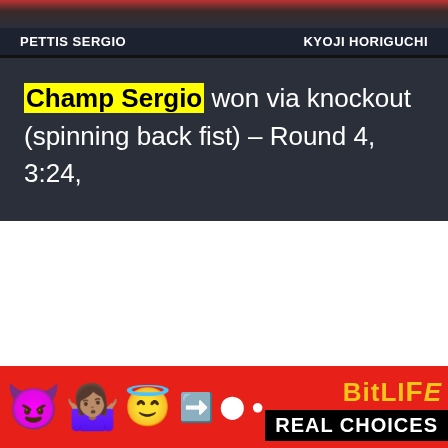PETTIS SERGIO    KYOJI HORIGUCHI
Champ Sergio won via knockout (spinning back fist) – Round 4, 3:24,
[Figure (screenshot): Advertisement banner for BitLife game with emoji characters (devil, person shrugging, angel) on red background, BitLife logo in yellow text, and REAL CHOICES in white on black background]